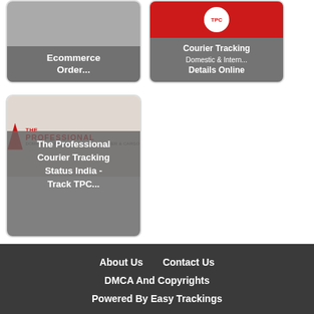[Figure (screenshot): Card showing Ecommerce Order tracking thumbnail with grey overlay label]
[Figure (screenshot): Card showing Courier Tracking Domestic & International Details Online thumbnail]
[Figure (screenshot): Card showing The Professional Courier Tracking Status India - Track TPC... with logo image]
About Us   Contact Us
DMCA And Copyrights
Powered By Easy Trackings